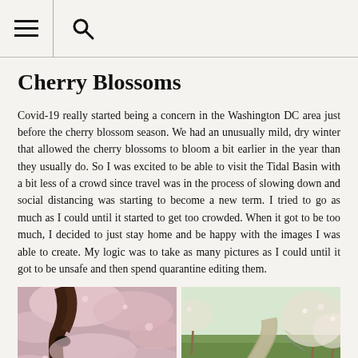≡ 🔍
Cherry Blossoms
Covid-19 really started being a concern in the Washington DC area just before the cherry blossom season. We had an unusually mild, dry winter that allowed the cherry blossoms to bloom a bit earlier in the year than they usually do. So I was excited to be able to visit the Tidal Basin with a bit less of a crowd since travel was in the process of slowing down and social distancing was starting to become a new term. I tried to go as much as I could until it started to get too crowded. When it got to be too much, I decided to just stay home and be happy with the images I was able to create. My logic was to take as many pictures as I could until it got to be unsafe and then spend quarantine editing them.
[Figure (photo): Close-up photo of a squirrel or bird among cherry blossom branches with pink flowers]
[Figure (photo): Wide shot of a garden path or walkway lined with cherry blossom trees, showing green grass and blooming white-pink flowers]